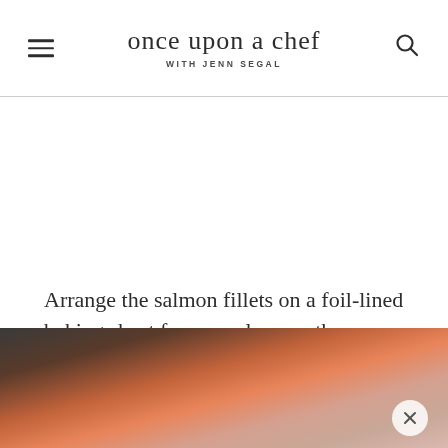once upon a chef WITH JENN SEGAL
Arrange the salmon fillets on a foil-lined baking sheet for easy cleanup, then sprinkle the spice rub over top.
[Figure (photo): Partial view of salmon fillets with spice rub on a baking sheet, shown at bottom of page]